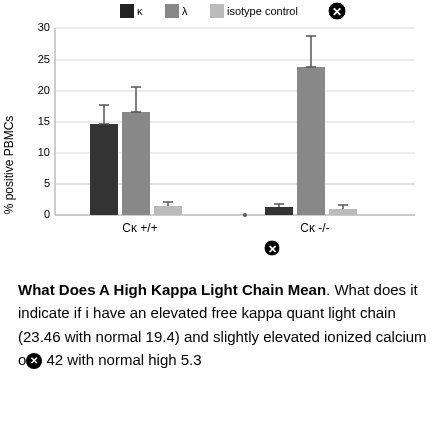[Figure (grouped-bar-chart): ]
What Does A High Kappa Light Chain Mean. What does it indicate if i have an elevated free kappa quant light chain (23.46 with normal 19.4) and slightly elevated ionized calcium o 42 with normal high 5.3